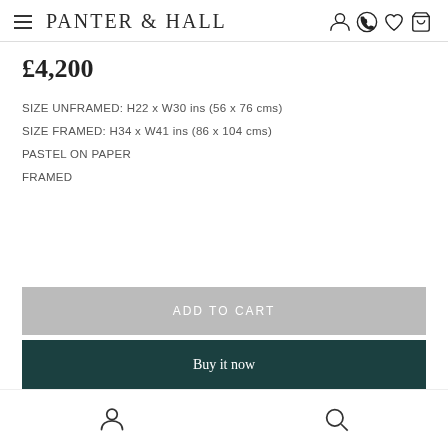PANTER & HALL
£4,200
SIZE UNFRAMED: H22 x W30 ins (56 x 76 cms)
SIZE FRAMED: H34 x W41 ins (86 x 104 cms)
PASTEL ON PAPER
FRAMED
ADD TO CART
Buy it now